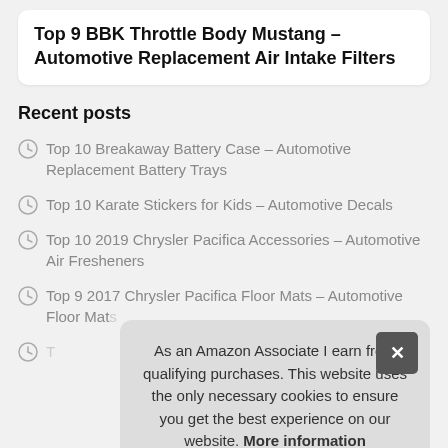Top 9 BBK Throttle Body Mustang – Automotive Replacement Air Intake Filters
Recent posts
Top 10 Breakaway Battery Case – Automotive Replacement Battery Trays
Top 10 Karate Stickers for Kids – Automotive Decals
Top 10 2019 Chrysler Pacifica Accessories – Automotive Air Fresheners
Top 9 2017 Chrysler Pacifica Floor Mats – Automotive Floor Mats
As an Amazon Associate I earn from qualifying purchases. This website uses the only necessary cookies to ensure you get the best experience on our website. More information